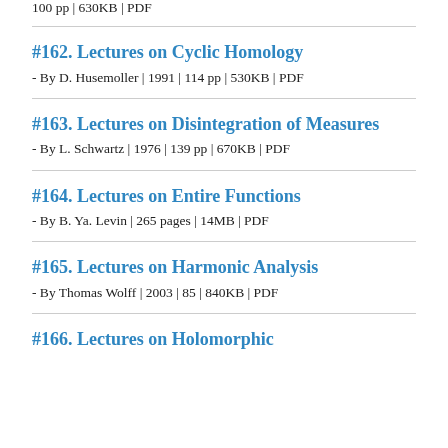100 pp | 630KB | PDF
#162. Lectures on Cyclic Homology
- By D. Husemoller | 1991 | 114 pp | 530KB | PDF
#163. Lectures on Disintegration of Measures
- By L. Schwartz | 1976 | 139 pp | 670KB | PDF
#164. Lectures on Entire Functions
- By B. Ya. Levin | 265 pages | 14MB | PDF
#165. Lectures on Harmonic Analysis
- By Thomas Wolff | 2003 | 85 | 840KB | PDF
#166. Lectures on Holomorphic